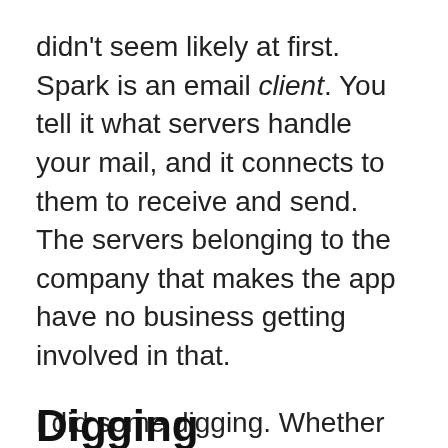didn't seem likely at first. Spark is an email client. You tell it what servers handle your mail, and it connects to them to receive and send. The servers belonging to the company that makes the app have no business getting involved in that.
I did some digging. Whether or not Myke was right™ about mail going through their servers, the reality turned out to be much worse.
Digging